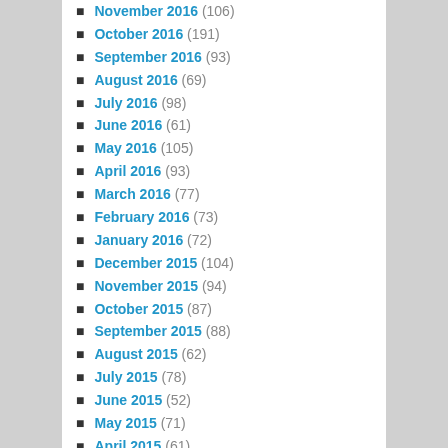November 2016 (106)
October 2016 (191)
September 2016 (93)
August 2016 (69)
July 2016 (98)
June 2016 (61)
May 2016 (105)
April 2016 (93)
March 2016 (77)
February 2016 (73)
January 2016 (72)
December 2015 (104)
November 2015 (94)
October 2015 (87)
September 2015 (88)
August 2015 (62)
July 2015 (78)
June 2015 (52)
May 2015 (71)
April 2015 (61)
March 2015 (52)
February 2015 (84)